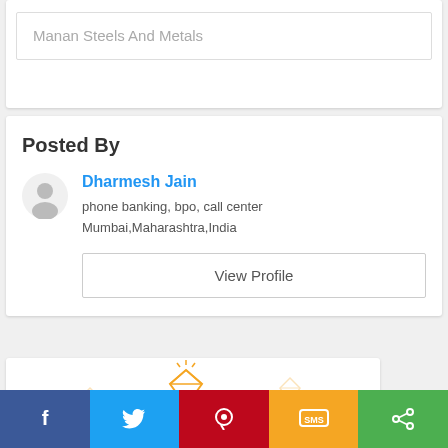Manan Steels And Metals
Posted By
Dharmesh Jain
phone banking, bpo, call center
Mumbai,Maharashtra,India
View Profile
[Figure (infographic): Become A banner with diamond icons in orange/yellow on white background]
Become A
f  (twitter)  (pinterest)  SMS  (share)